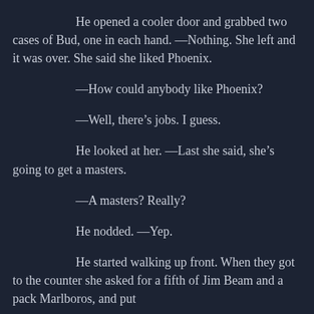He opened a cooler door and grabbed two cases of Bud, one in each hand. —Nothing. She left and it was over. She said she liked Phoenix.
—How could anybody like Phoenix?
—Well, there's jobs. I guess.
He looked at her. —Last she said, she's going to get a masters.
—A masters? Really?
He nodded. —Yep.
He started walking up front. When they got to the counter she asked for a fifth of Jim Beam and a pack Marlboros, and put